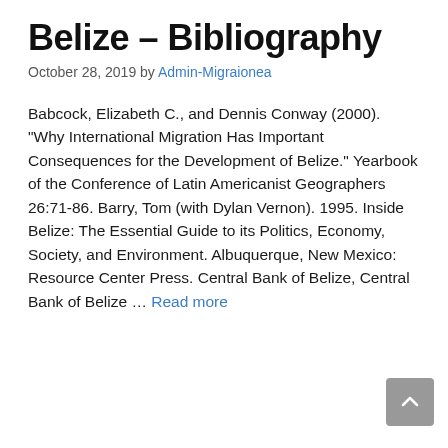Belize – Bibliography
October 28, 2019 by Admin-Migraionea
Babcock, Elizabeth C., and Dennis Conway (2000). “Why International Migration Has Important Consequences for the Development of Belize.” Yearbook of the Conference of Latin Americanist Geographers 26:71-86. Barry, Tom (with Dylan Vernon). 1995. Inside Belize: The Essential Guide to its Politics, Economy, Society, and Environment. Albuquerque, New Mexico: Resource Center Press. Central Bank of Belize, Central Bank of Belize … Read more